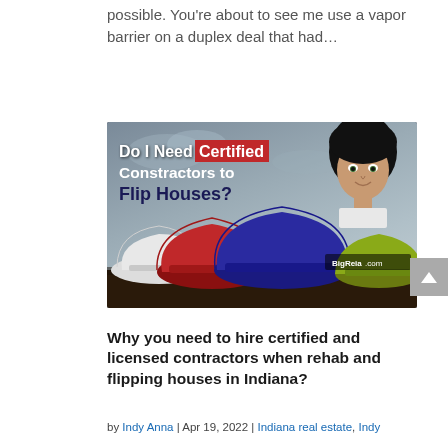possible. You're about to see me use a vapor barrier on a duplex deal that had…
[Figure (photo): Promotional image for BigReia.com article about certified contractors for house flipping. Shows text 'Do I Need Certified Constractors to Flip Houses?' overlaid on a photo of colored hard hats (white, red, blue, yellow-green) on a dark surface against a cloudy sky. A woman with dark hair appears in the upper right corner. BigReia.com logo in lower right.]
Why you need to hire certified and licensed contractors when rehab and flipping houses in Indiana?
by Indy Anna | Apr 19, 2022 | Indiana real estate, Indy